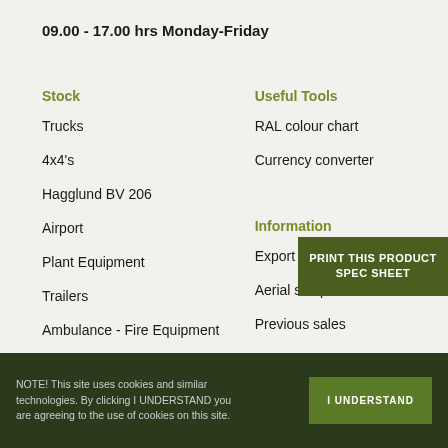09.00 - 17.00 hrs Monday-Friday
Stock
Trucks
4x4's
Hagglund BV 206
Airport
Plant Equipment
Trailers
Ambulance - Fire Equipment
Useful Tools
RAL colour chart
Currency converter
Information
Export licensing info
Aerial site photos
Previous sales
[Figure (other): Green badge button: PRINT THIS PRODUCT SPEC SHEET]
NOTE! This site uses cookies and similar technologies. By clicking I UNDERSTAND you are agreeing to the use of cookies on this site.
I UNDERSTAND